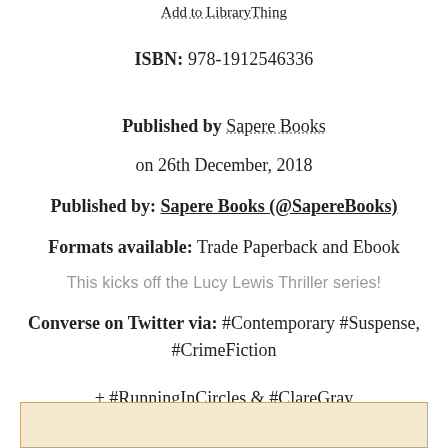Add to LibraryThing
ISBN: 978-1912546336
Published by Sapere Books
on 26th December, 2018
Published by: Sapere Books (@SapereBooks)
Formats available: Trade Paperback and Ebook
This kicks off the Lucy Lewis Thriller series!
Converse on Twitter via: #Contemporary #Suspense, #CrimeFiction
+ #RunningInCircles & #ClareGray
[Figure (other): Beige/tan colored box at bottom of page with border]